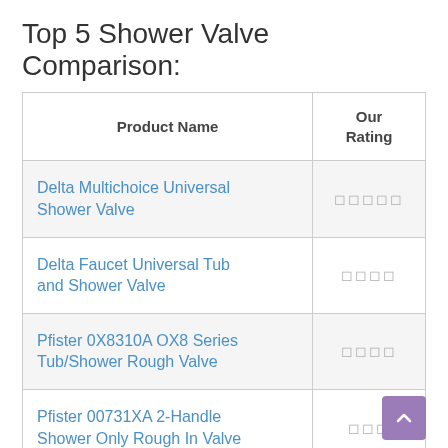Top 5 Shower Valve Comparison:
| Product Name | Our Rating |
| --- | --- |
| Delta Multichoice Universal Shower Valve | ★★★★★ |
| Delta Faucet Universal Tub and Shower Valve | ★★★★ |
| Pfister 0X8310A OX8 Series Tub/Shower Rough Valve | ★★★★ |
| Pfister 00731XA 2-Handle Shower Only Rough In Valve | ★★★ |